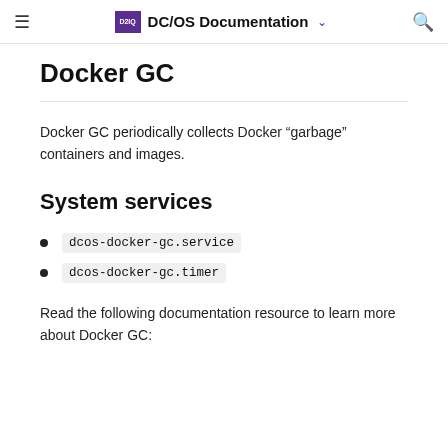DC/OS Documentation
Docker GC
Docker GC periodically collects Docker “garbage” containers and images.
System services
dcos-docker-gc.service
dcos-docker-gc.timer
Read the following documentation resource to learn more about Docker GC: